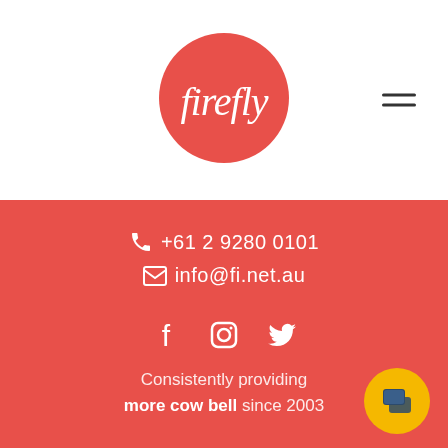[Figure (logo): Firefly logo: white 'firefly' script text inside a red circle]
[Figure (other): Hamburger menu icon (three horizontal lines) in top right corner]
+61 2 9280 0101
info@fi.net.au
[Figure (other): Social media icons: Facebook, Instagram, Twitter in white on red background]
Consistently providing more cow bell since 2003